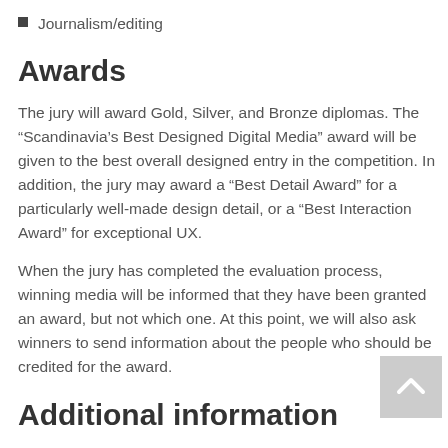Journalism/editing
Awards
The jury will award Gold, Silver, and Bronze diplomas. The “Scandinavia’s Best Designed Digital Media” award will be given to the best overall designed entry in the competition. In addition, the jury may award a “Best Detail Award” for a particularly well-made design detail, or a “Best Interaction Award” for exceptional UX.
When the jury has completed the evaluation process, winning media will be informed that they have been granted an award, but not which one. At this point, we will also ask winners to send information about the people who should be credited for the award.
Additional information
If you want to add before/after/during screenshots, you can do so by uploading files in the following formats: jpg, png, gif,